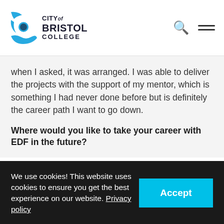City of Bristol College
when I asked, it was arranged. I was able to deliver the projects with the support of my mentor, which is something I had never done before but is definitely the career path I want to go down.
Where would you like to take your career with EDF in the future?
I would love to stay after my apprenticeship ends. I have built so many friendships with colleagues and I love the ... projects and areas of the business side, it means I am never bored as everyday is different.
We use cookies! This website uses cookies to ensure you get the best experience on our website. Privacy policy   Accept